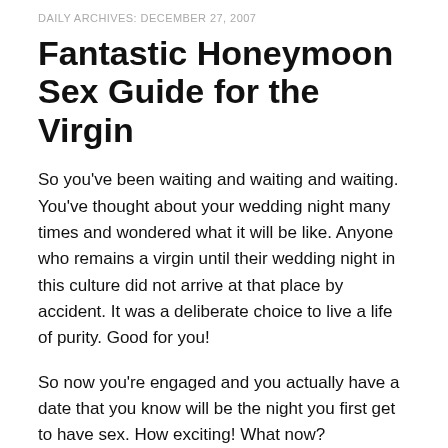DAILY ARCHIVES: DECEMBER 27, 2007
Fantastic Honeymoon Sex Guide for the Virgin
So you've been waiting and waiting and waiting. You've thought about your wedding night many times and wondered what it will be like. Anyone who remains a virgin until their wedding night in this culture did not arrive at that place by accident. It was a deliberate choice to live a life of purity. Good for you!
So now you're engaged and you actually have a date that you know will be the night you first get to have sex. How exciting! What now?
Before the Honeymoon